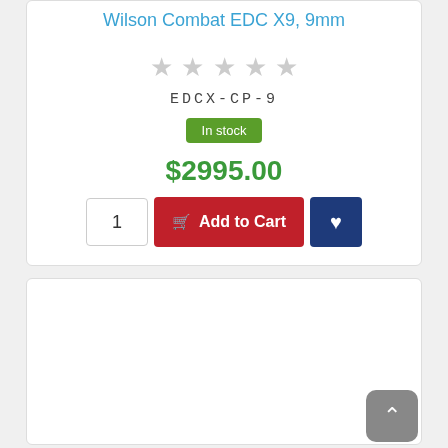Wilson Combat EDC X9, 9mm
★★★★★ (0 reviews, 5 stars empty)
EDCX-CP-9
In stock
$2995.00
Quantity: 1, Add to Cart, Wishlist
[Figure (other): White empty card/content area below the product purchase section]